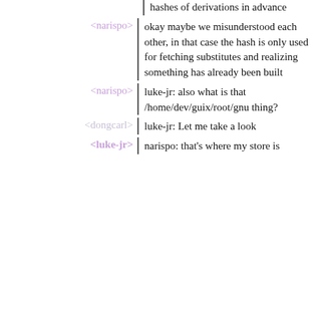hashes of derivations in advance
<narispo> okay maybe we misunderstood each other, in that case the hash is only used for fetching substitutes and realizing something has already been built
<narispo> luke-jr: also what is that /home/dev/guix/root/gnu thing?
<dongcarl> luke-jr: Let me take a look
<luke-jr> narispo: that's where my store is